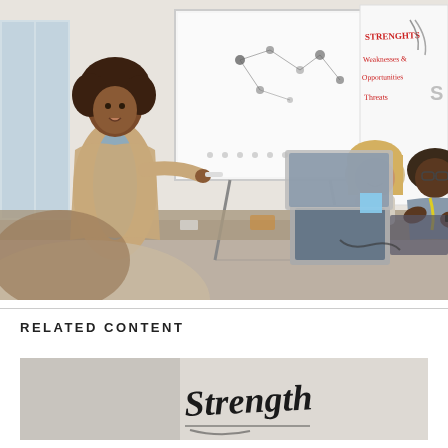[Figure (photo): A woman with curly hair in a beige blazer stands presenting at a whiteboard/flipchart with a network diagram. Three colleagues sit at a table with laptops listening. A second whiteboard in background reads STRENGHTS, Weaknesses, Opportunities, Threats (SWOT analysis). Office meeting room setting.]
RELATED CONTENT
[Figure (photo): Thumbnail image showing handwritten text 'Strength' in large cursive/marker font on a light grey background, partially visible with other handwritten text below.]